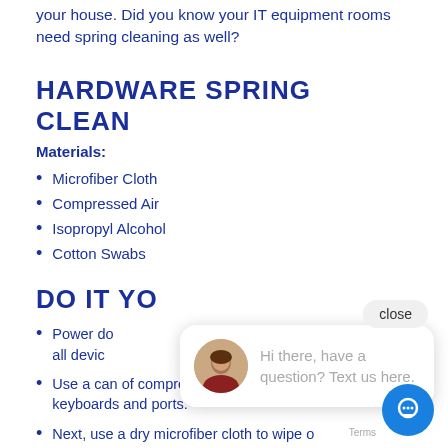your house. Did you know your IT equipment rooms need spring cleaning as well?
HARDWARE SPRING CLEAN
Materials:
Microfiber Cloth
Compressed Air
Isopropyl Alcohol
Cotton Swabs
DO IT YO...
Power do... all devic...
Use a can of compressed air, to blast dirt off keyboards and ports.
Next, use a dry microfiber cloth to wipe o... the outside of your machine and any additional equipment: mouses, keyboards,
[Figure (other): Chat widget overlay with avatar photo of a woman, text 'Hi there, have a question? Text us here.' and a close button, plus a blue circular chat icon button at bottom right.]